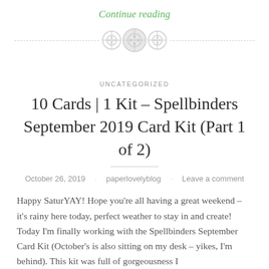Continue reading
[Figure (illustration): Decorative divider with three button icons (two small, one large in center) on a dashed horizontal line]
UNCATEGORIZED
10 Cards | 1 Kit – Spellbinders September 2019 Card Kit (Part 1 of 2)
October 26, 2019 · paperlovelyblog · Leave a comment
Happy SaturYAY! Hope you're all having a great weekend – it's rainy here today, perfect weather to stay in and create! Today I'm finally working with the Spellbinders September Card Kit (October's is also sitting on my desk – yikes, I'm behind). This kit was full of gorgeousness I